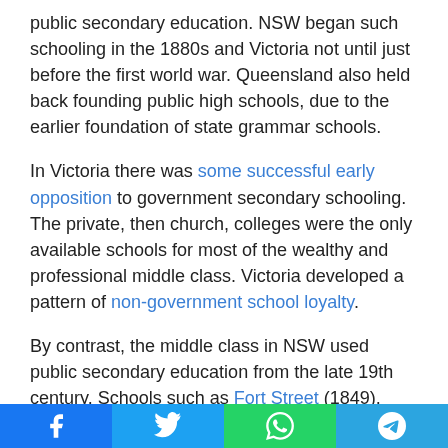public secondary education. NSW began such schooling in the 1880s and Victoria not until just before the first world war. Queensland also held back founding public high schools, due to the earlier foundation of state grammar schools.
In Victoria there was some successful early opposition to government secondary schooling. The private, then church, colleges were the only available schools for most of the wealthy and professional middle class. Victoria developed a pattern of non-government school loyalty.
By contrast, the middle class in NSW used public secondary education from the late 19th century. Schools such as Fort Street (1849), Sydney Girls and Sydney Boys High School (1883), North Sydney Girls (1914) and North Sydney Boys High School (1915), and later Hurlstone Agricultural and
[Figure (other): Social media share buttons bar: Facebook, Twitter, WhatsApp, Telegram]